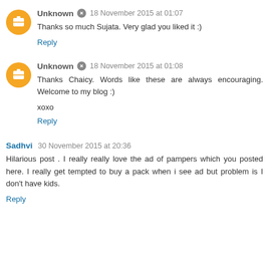Unknown • 18 November 2015 at 01:07
Thanks so much Sujata. Very glad you liked it :)
Reply
Unknown • 18 November 2015 at 01:08
Thanks Chaicy. Words like these are always encouraging. Welcome to my blog :)
xoxo
Reply
Sadhvi 30 November 2015 at 20:36
Hilarious post . I really really love the ad of pampers which you posted here. I really get tempted to buy a pack when i see ad but problem is I don't have kids.
Reply